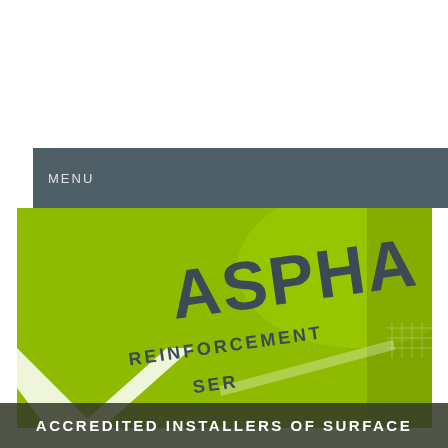MENU
[Figure (photo): Close-up of a bright yellow-green van/vehicle with 'ASPHALT REINFORCEMENT SERVICES' branding in dark grey letters, with diagonal white stripe graphic element.]
ACCREDITED INSTALLERS OF SURFACE